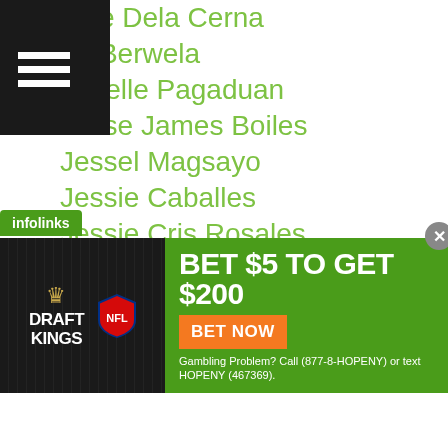ame Dela Cerna
on Berwela
sebelle Pagaduan
Jesse James Boiles
Jessel Magsayo
Jessie Caballes
Jessie Cris Rosales
Jessie Espina
Jessie Suacasa
Jestoni Autida
Jestoni Makiputin
Jestoni Racoma
Jether Oliva
Jetly Purisima
Jetro Pabustan
Jeven Villacite
[Figure (screenshot): DraftKings NFL advertisement banner: BET $5 TO GET $200, BET NOW button, Gambling Problem? Call (877-8-HOPENY) or text HOPENY (467369).]